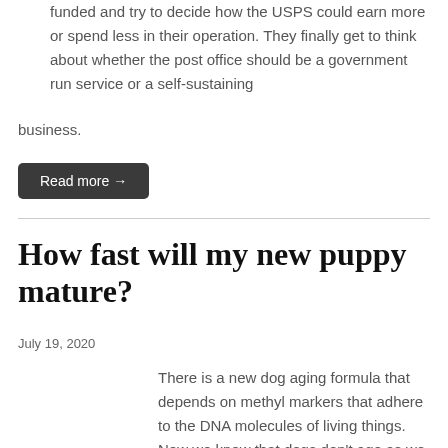funded and try to decide how the USPS could earn more or spend less in their operation.  They finally get to think about whether the post office should be a government run service or a self-sustaining business.
Read more →
How fast will my new puppy mature?
July 19, 2020
There is a new dog aging formula that depends on methyl markers that adhere to the DNA molecules of living things.  Now we know that dogs don't age as we